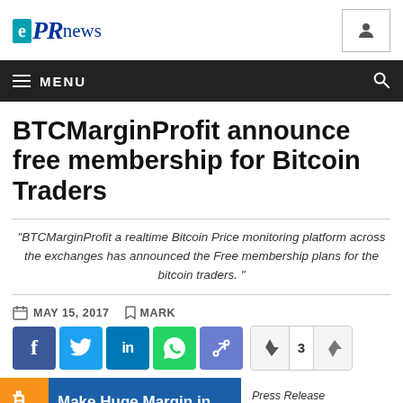ePRnews
MENU
BTCMarginProfit announce free membership for Bitcoin Traders
“BTCMarginProfit a realtime Bitcoin Price monitoring platform across the exchanges has announced the Free membership plans for the bitcoin traders. ”
MAY 15, 2017   MARK
Press Release (ePRNews.com)